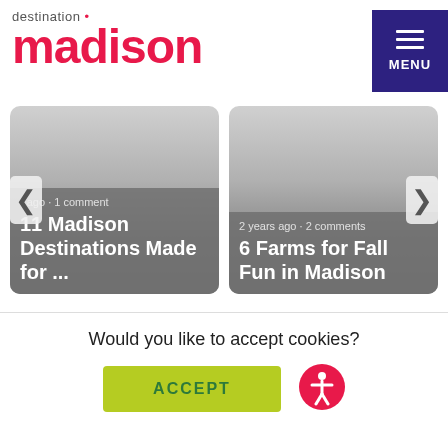[Figure (logo): Destination Madison logo with red text]
[Figure (screenshot): Menu button with hamburger icon on dark purple background]
[Figure (screenshot): Card 1: r ago · 1 comment / 11 Madison Destinations Made for ...]
[Figure (screenshot): Card 2: 2 years ago · 2 comments / 6 Farms for Fall Fun in Madison]
Would you like to accept cookies?
[Figure (other): Green ACCEPT button]
[Figure (other): Accessibility icon - pink circle with person symbol]